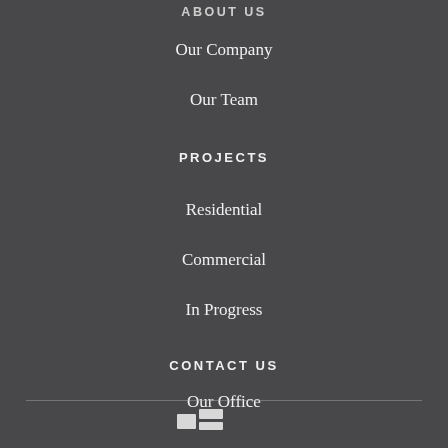ABOUT US
Our Company
Our Team
PROJECTS
Residential
Commercial
In Progress
CONTACT US
Our Office
Enquiry
[Figure (logo): Small icon/logo at the bottom footer area]